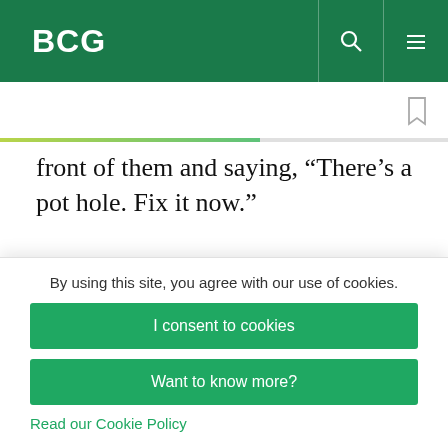BCG
front of them and saying, “There’s a pot hole. Fix it now.”
You’ve tried things. Some have worked; some haven’t. Could you talk about some of the things you’ve tried in building TED that have
By using this site, you agree with our use of cookies.
I consent to cookies
Want to know more?
Read our Cookie Policy